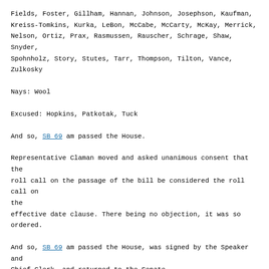Fields, Foster, Gillham, Hannan, Johnson, Josephson, Kaufman, Kreiss-Tomkins, Kurka, LeBon, McCabe, McCarty, McKay, Merrick, Nelson, Ortiz, Prax, Rasmussen, Rauscher, Schrage, Shaw, Snyder, Spohnholz, Story, Stutes, Tarr, Thompson, Tilton, Vance, Zulkosky
Nays: Wool
Excused: Hopkins, Patkotak, Tuck
And so, SB 69 am passed the House.
Representative Claman moved and asked unanimous consent that the roll call on the passage of the bill be considered the roll call on the effective date clause. There being no objection, it was so ordered.
And so, SB 69 am passed the House, was signed by the Speaker and Chief Clerk, and returned to the Senate.